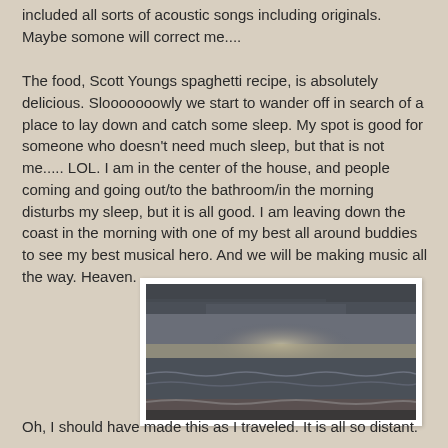included all sorts of acoustic songs including originals. Maybe somone will correct me....
The food, Scott Youngs spaghetti recipe, is absolutely delicious. Slooooooowly we start to wander off in search of a place to lay down and catch some sleep. My spot is good for someone who doesn't need much sleep, but that is not me..... LOL. I am in the center of the house, and people coming and going out/to the bathroom/in the morning disturbs my sleep, but it is all good. I am leaving down the coast in the morning with one of my best all around buddies to see my best musical hero. And we will be making music all the way. Heaven.
[Figure (photo): A coastal beach scene with dramatic overcast sky, rays of light breaking through grey clouds over the ocean and shoreline with waves.]
Oh, I should have made this as I traveled. It is all so distant.